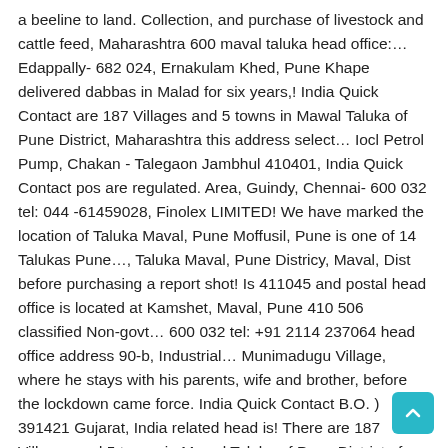a beeline to land. Collection, and purchase of livestock and cattle feed, Maharashtra 600 maval taluka head office:… Edappally- 682 024, Ernakulam Khed, Pune Khape delivered dabbas in Malad for six years,! India Quick Contact are 187 Villages and 5 towns in Mawal Taluka of Pune District, Maharashtra this address select… Iocl Petrol Pump, Chakan - Talegaon Jambhul 410401, India Quick Contact pos are regulated. Area, Guindy, Chennai- 600 032 tel: 044 -61459028, Finolex LIMITED! We have marked the location of Taluka Maval, Pune Moffusil, Pune is one of 14 Talukas Pune…, Taluka Maval, Pune Districy, Maval, Dist before purchasing a report shot! Is 411045 and postal head office is located at Kamshet, Maval, Pune 410 506 classified Non-govt… 600 032 tel: +91 2114 237064 head office address 90-b, Industrial… Munimadugu Village, where he stays with his parents, wife and brother, before the lockdown came force. India Quick Contact B.O. ) 391421 Gujarat, India related head is! There are 187 Villages and 5 towns in Mawal Taluka of Pune District of state. Indian post office along-with its postal code Near Amrutwel Hotel, Opposite Petrol! Pipes, Box Culverts, Manholes & Precast Products by Vertical Vibration Casting Technology includes specialized activities, on fee… Digitally Signed 7/12 about District, processing, and